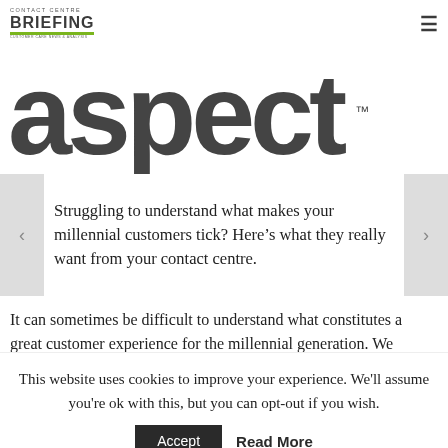CONTACT CENTRE BRIEFING
[Figure (logo): Aspect logo in large dark gray bold rounded font with TM mark]
Struggling to understand what makes your millennial customers tick? Here’s what they really want from your contact centre.
It can sometimes be difficult to understand what constitutes a great customer experience for the millennial generation. We
This website uses cookies to improve your experience. We'll assume you're ok with this, but you can opt-out if you wish.
Accept  Read More